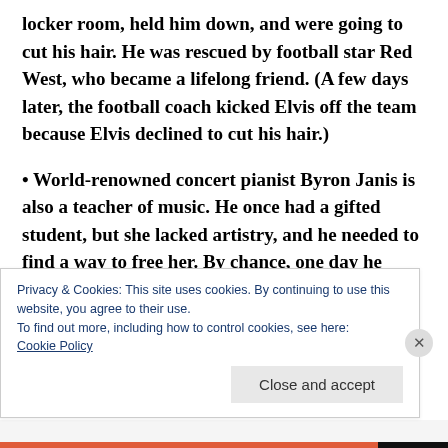locker room, held him down, and were going to cut his hair. He was rescued by football star Red West, who became a lifelong friend. (A few days later, the football coach kicked Elvis off the team because Elvis declined to cut his hair.)
• World-renowned concert pianist Byron Janis is also a teacher of music. He once had a gifted student, but she lacked artistry, and he needed to find a way to free her. By chance, one day he
Privacy & Cookies: This site uses cookies. By continuing to use this website, you agree to their use.
To find out more, including how to control cookies, see here:
Cookie Policy
Close and accept